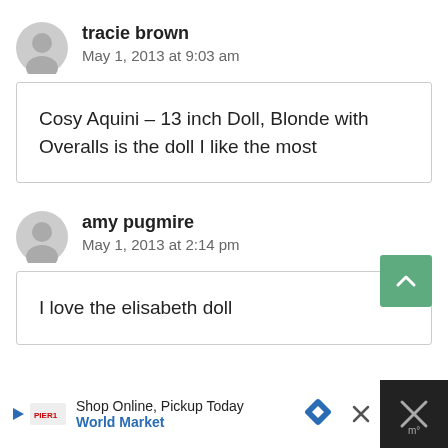tracie brown
May 1, 2013 at 9:03 am
Cosy Aquini – 13 inch Doll, Blonde with Overalls is the doll I like the most
amy pugmire
May 1, 2013 at 2:14 pm
I love the elisabeth doll
Shop Online, Pickup Today
World Market